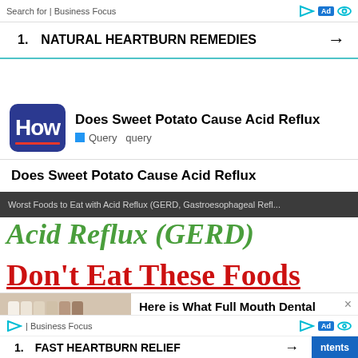Search for | Business Focus
1. NATURAL HEARTBURN REMEDIES →
[Figure (logo): HowStuffWorks logo — white 'How' text on dark blue rounded rectangle with red underline]
Does Sweet Potato Cause Acid Reflux
Query  query
Does Sweet Potato Cause Acid Reflux
[Figure (screenshot): Thumbnail image showing article about Worst Foods to Eat with Acid Reflux (GERD, Gastroesophageal Refl... with green italic 'Acid Reflux (GERD)' text and red bold underlined 'Don't Eat These Foods' text]
[Figure (photo): Advertisement image showing dental implant tooth shade samples and a smile]
Here is What Full Mouth Dental Implants Should Cost You in 2022
Dental Implants | Search Ads | Sponsored
| Business Focus
1. FAST HEARTBURN RELIEF →
ntents